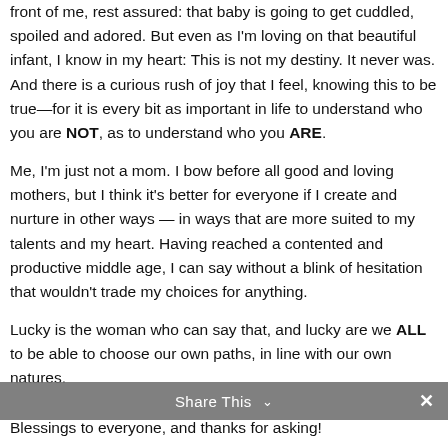front of me, rest assured: that baby is going to get cuddled, spoiled and adored. But even as I'm loving on that beautiful infant, I know in my heart: This is not my destiny. It never was. And there is a curious rush of joy that I feel, knowing this to be true—for it is every bit as important in life to understand who you are NOT, as to understand who you ARE.
Me, I'm just not a mom. I bow before all good and loving mothers, but I think it's better for everyone if I create and nurture in other ways — in ways that are more suited to my talents and my heart. Having reached a contented and productive middle age, I can say without a blink of hesitation that wouldn't trade my choices for anything.
Lucky is the woman who can say that, and lucky are we ALL to be able to choose our own paths, in line with our own natures.
Share This ∨  ✕
Blessings to everyone, and thanks for asking!